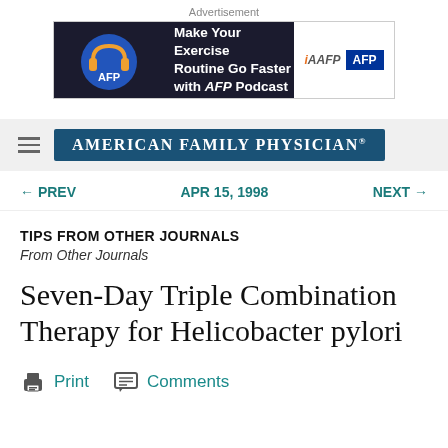Advertisement
[Figure (other): AFP Podcast advertisement banner: 'Make Your Exercise Routine Go Faster with AFP Podcast' with AAFP and AFP logos]
AMERICAN FAMILY PHYSICIAN
← PREV   APR 15, 1998   NEXT →
TIPS FROM OTHER JOURNALS
From Other Journals
Seven-Day Triple Combination Therapy for Helicobacter pylori
Print   Comments